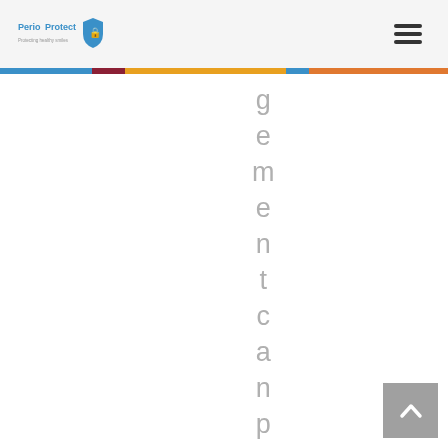[Figure (logo): PerioProtect logo with shield icon and tagline]
[Figure (infographic): Hamburger menu icon (three horizontal bars)]
[Figure (infographic): Multicolor horizontal stripe separator: blue, red/maroon, yellow/gold, light blue, orange]
g e m e n t c a n p r o m o
[Figure (infographic): Back to top button arrow (chevron up) in gray square]